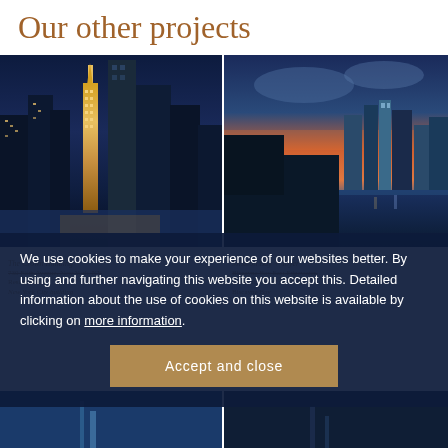Our other projects
[Figure (photo): Nighttime city skyline with illuminated skyscrapers including a distinctive gold/white ornate tower in the center, New York City]
[Figure (photo): Twilight city skyline reflected over a bay or river, with dramatic orange and blue sky, Miami Biscayne Bay]
The Crown Building Mission Bay + Toyer
730 Fifth Avenue, New York, NY    Biscayne Bay East Edgewater,
Residential                          an architectural jewel on
New York City building               Biscayne Bay
We use cookies to make your experience of our websites better. By using and further navigating this website you accept this. Detailed information about the use of cookies on this website is available by clicking on more information.
[Figure (photo): Bottom strip showing partial city/architectural images]
Accept and close